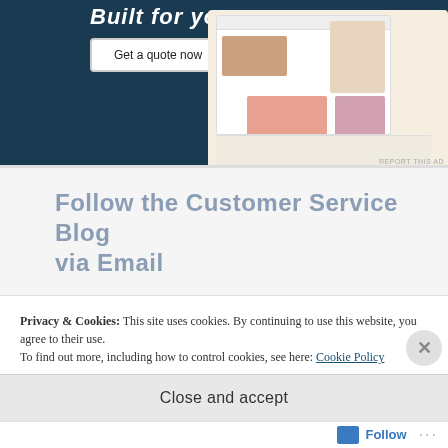[Figure (screenshot): Advertisement banner with dark navy background showing 'Built for your...' text in italic, a 'Get a quote now' button, and a mockup of a fashion e-commerce website with product images]
Follow the Customer Service Blog via Email
Email Address
Privacy & Cookies: This site uses cookies. By continuing to use this website, you agree to their use.
To find out more, including how to control cookies, see here: Cookie Policy
Close and accept